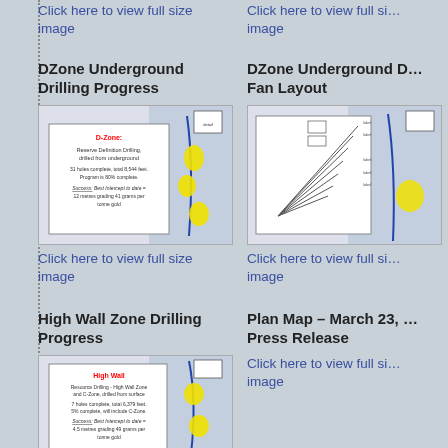Click here to view full size image
Click here to view full si… image
DZone Underground Drilling Progress
DZone Underground D… Fan Layout
[Figure (engineering-diagram): DZone Underground Drilling Progress map showing Reserve Definition Drilling drilled from underground, 31 holes complete total 8,544 feet, Program is 80% complete. Success: Best intercept to date = 12 metres grading 41 grams per tonne gold.]
[Figure (engineering-diagram): DZone Underground Drilling Fan Layout diagram showing fan drill hole layout from underground.]
Click here to view full size image
Click here to view full si… image
High Wall Zone Drilling Progress
Plan Map – March 23, … Press Release
[Figure (engineering-diagram): High Wall Zone Drilling Progress map showing Resource Drilling - High Wall Zone and C-Zone, drilled from surface. 7 holes complete, total 6,379 feet, 5% complete, will include C-Zone. Success: Best Intercept to date = 4.5 metres grading 49 grams per tonne gold.]
Click here to view full si… image